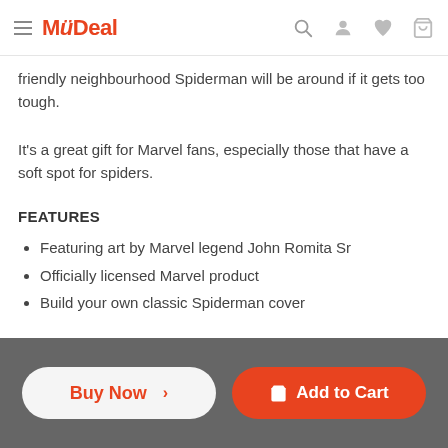MyDeal
friendly neighbourhood Spiderman will be around if it gets too tough.
It's a great gift for Marvel fans, especially those that have a soft spot for spiders.
FEATURES
Featuring art by Marvel legend John Romita Sr
Officially licensed Marvel product
Build your own classic Spiderman cover
SPECIFICATIONS
Measurements (puzzle): 35 x 48 cms